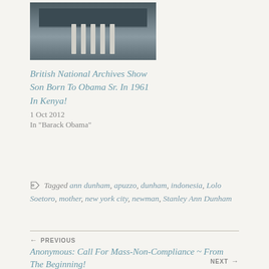[Figure (photo): Exterior photo of a building with columns and glass facade]
British National Archives Show Son Born To Obama Sr. In 1961 In Kenya!
1 Oct 2012
In "Barack Obama"
Tagged ann dunham, apuzzo, dunham, indonesia, Lolo Soetoro, mother, new york city, newman, Stanley Ann Dunham
← PREVIOUS
Anonymous: Call For Mass-Non-Compliance ~ From The Beginning!
NEXT →